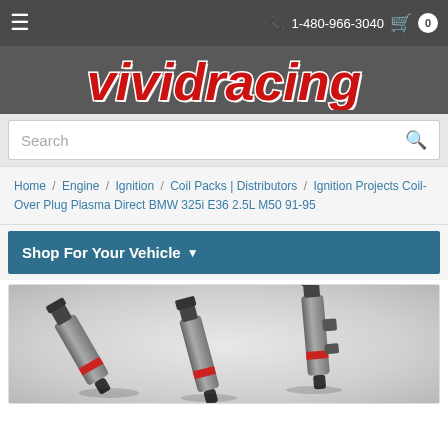≡  1-480-966-3040  🛒 0
[Figure (logo): Vivid Racing logo in red italic text on dark gray background]
Search
Home / Engine / Ignition / Coil Packs | Distributors / Ignition Projects Coil-Over Plug Plasma Direct BMW 325i E36 2.5L M50 91-95
Shop For Your Vehicle ▾
[Figure (photo): Product photo of ignition coil-over plug units (gray metal tubes with red and black connectors) on a light gray gradient background]